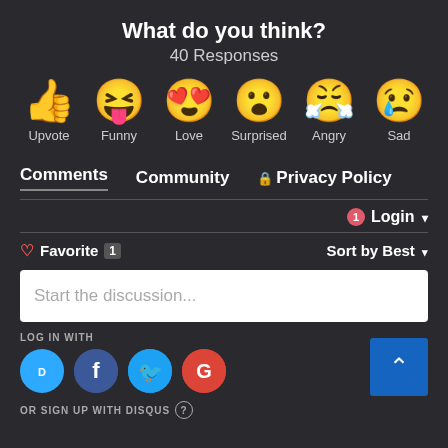What do you think?
40 Responses
[Figure (infographic): Six reaction emoji icons in a row: thumbs up (Upvote), laughing squinting face (Funny), heart-eyes smiley (Love), surprised open-mouth face (Surprised), angry face with steam (Angry), sad face with tear (Sad)]
Comments   Community   🔒 Privacy Policy
🔔1  Login ▾
♡ Favorite  1     Sort by Best ▾
Start the discussion...
LOG IN WITH
[Figure (infographic): Four social login buttons: Disqus (D, blue), Facebook (f, dark blue), Twitter (bird, light blue), Google (G, red)]
OR SIGN UP WITH DISQUS ?